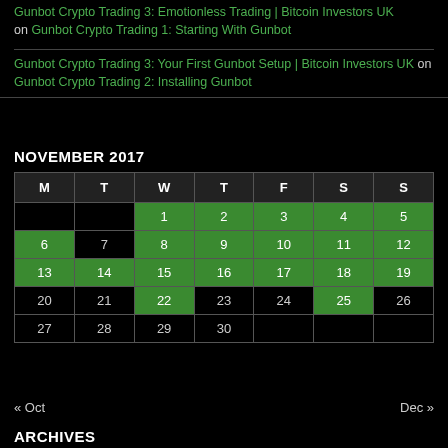Gunbot Crypto Trading 3: Emotionless Trading | Bitcoin Investors UK on Gunbot Crypto Trading 1: Starting With Gunbot
Gunbot Crypto Trading 3: Your First Gunbot Setup | Bitcoin Investors UK on Gunbot Crypto Trading 2: Installing Gunbot
NOVEMBER 2017
| M | T | W | T | F | S | S |
| --- | --- | --- | --- | --- | --- | --- |
|  |  | 1 | 2 | 3 | 4 | 5 |
| 6 | 7 | 8 | 9 | 10 | 11 | 12 |
| 13 | 14 | 15 | 16 | 17 | 18 | 19 |
| 20 | 21 | 22 | 23 | 24 | 25 | 26 |
| 27 | 28 | 29 | 30 |  |  |  |
« Oct    Dec »
ARCHIVES